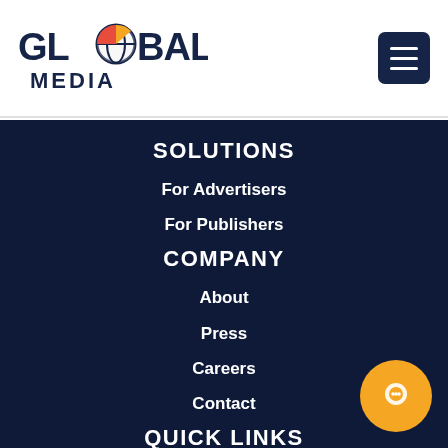GLOBALE MEDIA
SOLUTIONS
For Advertisers
For Publishers
COMPANY
About
Press
Careers
Contact
QUICK LINKS